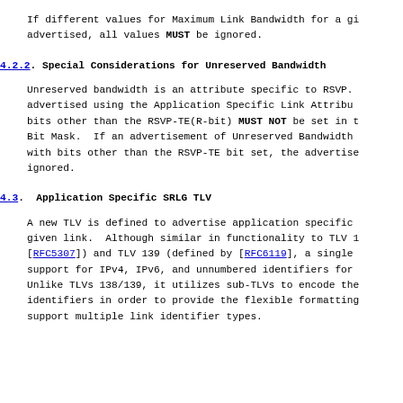If different values for Maximum Link Bandwidth for a gi advertised, all values MUST be ignored.
4.2.2.  Special Considerations for Unreserved Bandwidth
Unreserved bandwidth is an attribute specific to RSVP. advertised using the Application Specific Link Attribu bits other than the RSVP-TE(R-bit) MUST NOT be set in t Bit Mask.  If an advertisement of Unreserved Bandwidth with bits other than the RSVP-TE bit set, the advertise ignored.
4.3.  Application Specific SRLG TLV
A new TLV is defined to advertise application specific given link.  Although similar in functionality to TLV 1 [RFC5307]) and TLV 139 (defined by [RFC6119], a single support for IPv4, IPv6, and unnumbered identifiers for Unlike TLVs 138/139, it utilizes sub-TLVs to encode the identifiers in order to provide the flexible formatting support multiple link identifier types.